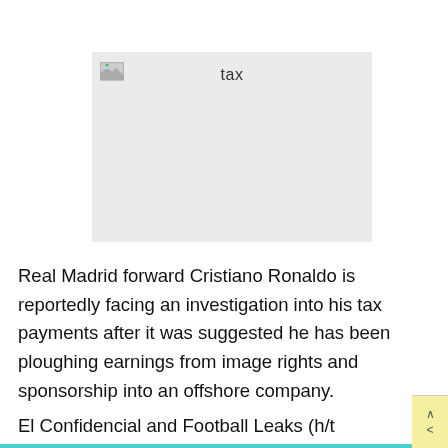[Figure (other): Broken/missing image placeholder with alt text 'tax' shown in a light grey rectangle]
Real Madrid forward Cristiano Ronaldo is reportedly facing an investigation into his tax payments after it was suggested he has been ploughing earnings from image rights and sponsorship into an offshore company.
El Confidencial and Football Leaks (h/t Marca